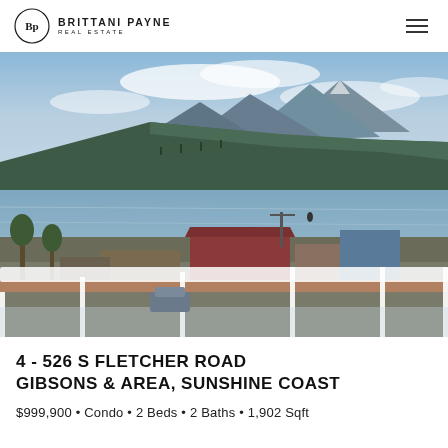BRITTANI PAYNE REAL ESTATE
[Figure (photo): Waterfront view from a balcony with glass railing, showing a harbour town, forested mountains, and a wide body of water under a cloudy sky.]
4 - 526 S FLETCHER ROAD
GIBSONS & AREA, SUNSHINE COAST
$999,900 • Condo • 2 Beds • 2 Baths • 1,902 Sqft